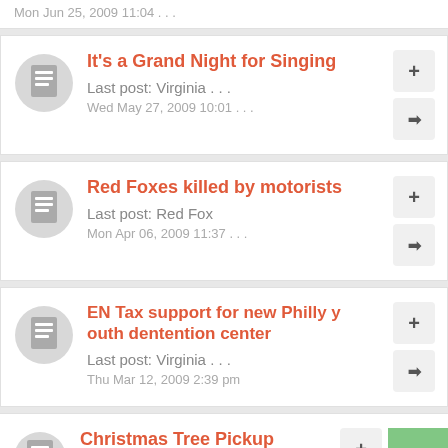Mon Jun 25, 2009 11:04 ...
It's a Grand Night for Singing
Last post: Virginia ...
Wed May 27, 2009 10:01 ...
Red Foxes killed by motorists
Last post: Red Fox
Mon Apr 06, 2009 11:37 ...
EN Tax support for new Philly youth dentention center
Last post: Virginia ...
Thu Mar 12, 2009 2:39 pm
Christmas Tree Pickup